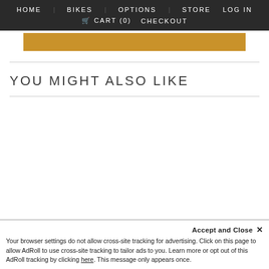HOME  BIKES  OPTIONS  STORE  LOG IN  🛒 CART (0)  CHECKOUT
[Figure (other): Golden/amber colored horizontal button bar]
YOU MIGHT ALSO LIKE
Accept and Close ×  Your browser settings do not allow cross-site tracking for advertising. Click on this page to allow AdRoll to use cross-site tracking to tailor ads to you. Learn more or opt out of this AdRoll tracking by clicking here. This message only appears once.